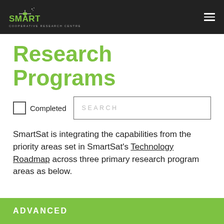SMARTSAT COOPERATIVE RESEARCH CENTRE
Research Programs
Completed  SEARCH
SmartSat is integrating the capabilities from the priority areas set in SmartSat's Technology Roadmap across three primary research program areas as below.
ADVANCED